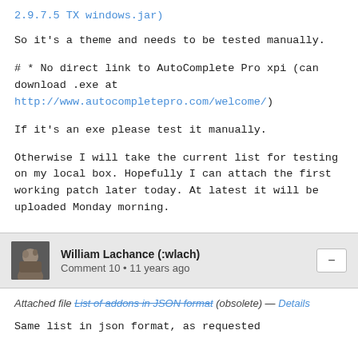2.9.7.5 TX windows.jar)
So it's a theme and needs to be tested manually.
# * No direct link to AutoComplete Pro xpi (can download .exe at http://www.autocompletepro.com/welcome/)
If it's an exe please test it manually.
Otherwise I will take the current list for testing on my local box. Hopefully I can attach the first working patch later today. At latest it will be uploaded Monday morning.
William Lachance (:wlach)
Comment 10 • 11 years ago
Attached file List of addons in JSON format (obsolete) — Details
Same list in json format, as requested